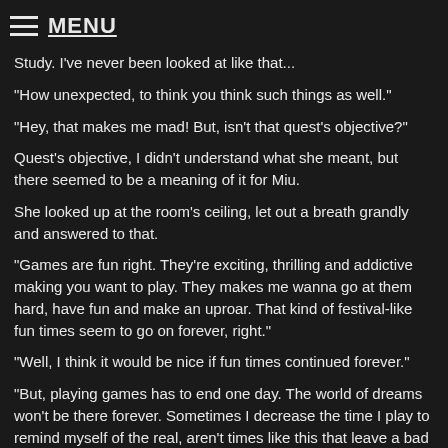≡ MENU
Study. I've never been looked at like that...
"How unexpected, to think you think such things as well."
"Hey, that makes me mad! But, isn't that quest's objective?"
Quest's objective, I didn't understand what she meant, but there seemed to be a meaning of it for Miu.
She looked up at the room's ceiling, let out a breath grandly and answered to that.
"Games are fun right. They're exciting, thrilling and addictive making you want to play. They makes me wanna go at them hard, have fun and make an uproar. That kind of festival-like fun times seem to go on forever, right."
"Well, I think it would be nice if fun times continued forever."
"But, playing games has to end one day. The world of dreams won't be there forever. Sometimes I decrease the time I play to remind myself of the real, aren't times like this that leave a bad after-taste good for to reconsider things?"
"...an opportunity to reconsider, huh. Maybe so."